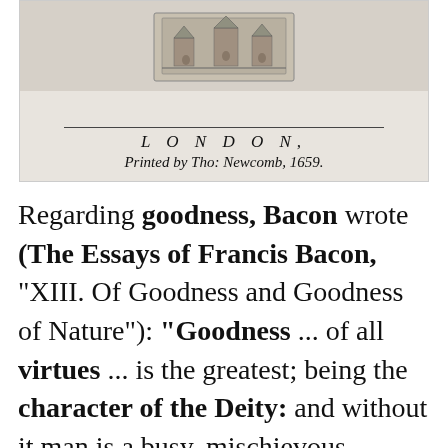[Figure (illustration): Historical title page image from 1659, showing an emblem or woodcut scene at top, a horizontal rule, the word LONDON in spaced italic lettering, and below it 'Printed by Tho: Newcomb, 1659.' in italic script.]
Regarding goodness, Bacon wrote (The Essays of Francis Bacon, "XIII. Of Goodness and Goodness of Nature"): "Goodness ... of all virtues ... is the greatest; being the character of the Deity: and without it man is a busy, mischievous, wretched thing; no better than a kind of vermin.